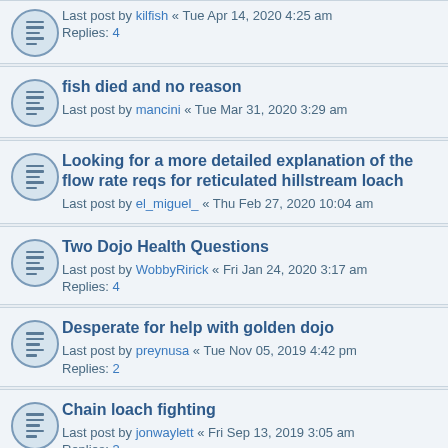Last post by kilfish « Tue Apr 14, 2020 4:25 am
Replies: 4
fish died and no reason
Last post by mancini « Tue Mar 31, 2020 3:29 am
Looking for a more detailed explanation of the flow rate reqs for reticulated hillstream loach
Last post by el_miguel_ « Thu Feb 27, 2020 10:04 am
Two Dojo Health Questions
Last post by WobbyRirick « Fri Jan 24, 2020 3:17 am
Replies: 4
Desperate for help with golden dojo
Last post by preynusa « Tue Nov 05, 2019 4:42 pm
Replies: 2
Chain loach fighting
Last post by jonwaylett « Fri Sep 13, 2019 3:05 am
Replies: 3
Bloat - parasites?
Last post by andyroo « Sun Sep 08, 2019 5:04 pm
ich or skinny disease or both for Java loach